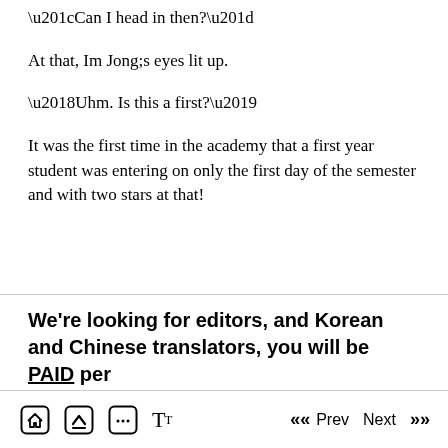“Can I head in then?”
At that, Im Jong;s eyes lit up.
‘Uhm. Is this a first?’
It was the first time in the academy that a first year student was entering on only the first day of the semester and with two stars at that!
We're looking for editors, and Korean and Chinese translators, you will be PAID per
Home  Up  Comments  Text size  « Prev  Next »